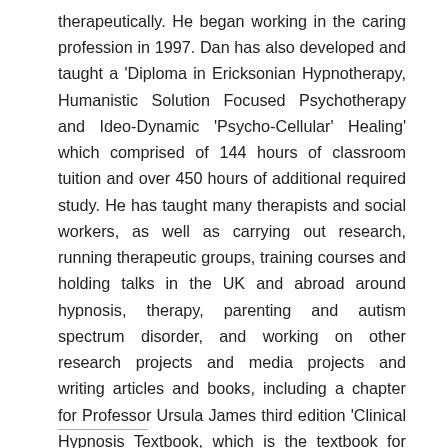therapeutically. He began working in the caring profession in 1997. Dan has also developed and taught a 'Diploma in Ericksonian Hypnotherapy, Humanistic Solution Focused Psychotherapy and Ideo-Dynamic 'Psycho-Cellular' Healing' which comprised of 144 hours of classroom tuition and over 450 hours of additional required study. He has taught many therapists and social workers, as well as carrying out research, running therapeutic groups, training courses and holding talks in the UK and abroad around hypnosis, therapy, parenting and autism spectrum disorder, and working on other research projects and media projects and writing articles and books, including a chapter for Professor Ursula James third edition 'Clinical Hypnosis Textbook, which is the textbook for many hypnotherapy diploma and degree courses.